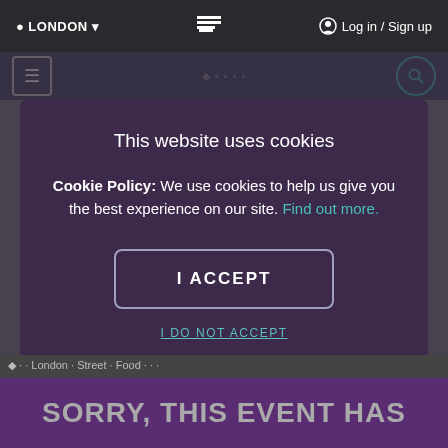📍 LONDON ▾   [icon]   🔒 Log in / Sign up
[Figure (screenshot): Website navigation bar with hamburger menu and search icon]
This website uses cookies
Cookie Policy: We use cookies to help us give you the best experience on our site. Find out more.
I ACCEPT
I DO NOT ACCEPT
SORRY, THIS EVENT HAS